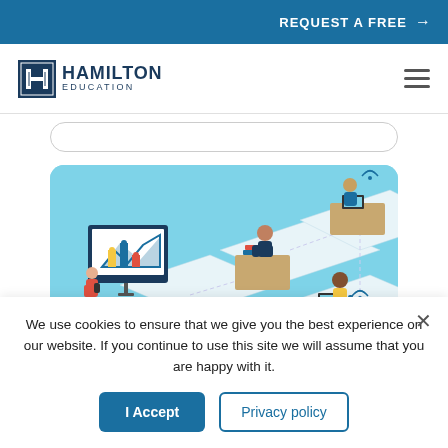REQUEST A FREE →
[Figure (logo): Hamilton Education logo with stylized H icon and text HAMILTON EDUCATION]
[Figure (illustration): Isometric illustration of online education scene with students at desks and a presenter at a screen showing charts, connected by network lines on a light blue background]
We use cookies to ensure that we give you the best experience on our website. If you continue to use this site we will assume that you are happy with it.
I Accept
Privacy policy